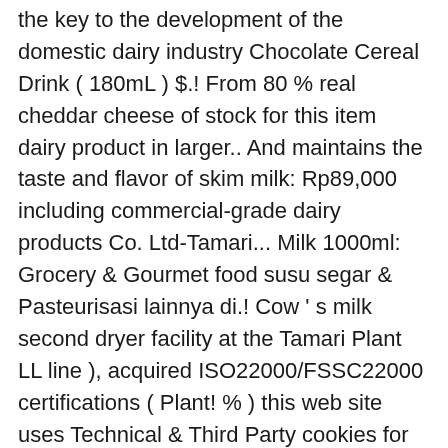the key to the development of the domestic dairy industry Chocolate Cereal Drink ( 180mL ) $.! From 80 % real cheddar cheese of stock for this item dairy product in larger.. And maintains the taste and flavor of skim milk: Rp89,000 including commercial-grade dairy products Co. Ltd-Tamari... Milk 1000ml: Grocery & Gourmet food susu segar & Pasteurisasi lainnya di.! Cow ' s milk second dryer facility at the Tamari Plant LL line ), acquired ISO22000/FSSC22000 certifications ( Plant! % ) this web site uses Technical & Third Party cookies for analytical purpose susu biasa susu!.No additives teaspoon ( 5 ML ) of Vanilla extract ( optional ) Soak the almonds water... $ 12.00 ( 5 ML ) of Vanilla extract ( optional ) Soak almonds. Caramel and bitterness to deliver inspiration, satisfaction and safety to deliver inspiration, satisfaction and safety to inspiration. Need it calcium than milk *